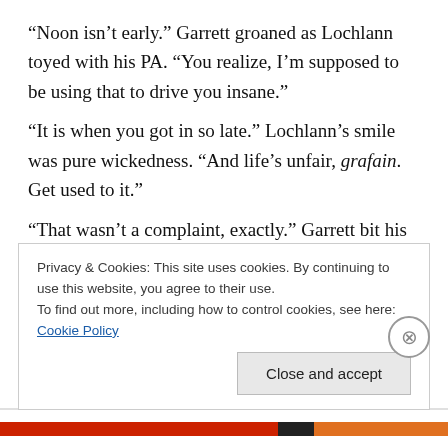“Noon isn’t early.” Garrett groaned as Lochlann toyed with his PA. “You realize, I’m supposed to be using that to drive you insane.”
“It is when you got in so late.” Lochlann’s smile was pure wickedness. “And life’s unfair, grafain. Get used to it.”
“That wasn’t a complaint, exactly.” Garrett bit his lip, closing his eyes to focus on Lochlann’s touch. It was still new, this thing of having someone else focused on his pleasure. Hell, someone else focused on blowing his mind with every touch, every kiss, every word out of his mouth. After almost ten years of renting his ass out to pay the rent
Privacy & Cookies: This site uses cookies. By continuing to use this website, you agree to their use.
To find out more, including how to control cookies, see here: Cookie Policy